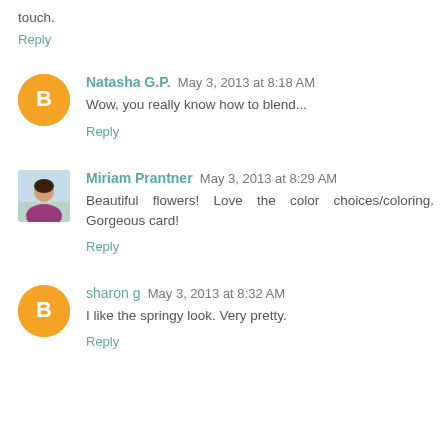touch.
Reply
Natasha G.P.  May 3, 2013 at 8:18 AM
Wow, you really know how to blend...
Reply
Miriam Prantner  May 3, 2013 at 8:29 AM
Beautiful flowers! Love the color choices/coloring. Gorgeous card!
Reply
sharon g  May 3, 2013 at 8:32 AM
I like the springy look. Very pretty.
Reply